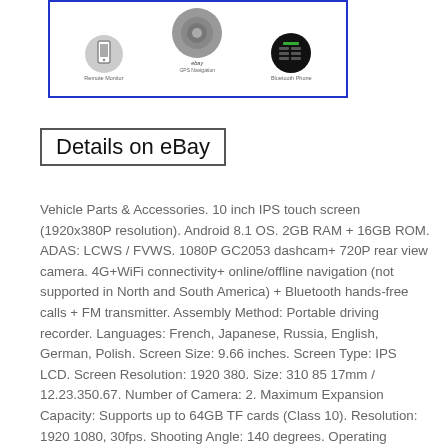[Figure (illustration): Product feature icons in circles inside a blue-bordered box: a hand holding a smartphone (Remote Monitor), a disc/GPS icon (GPS Navigation), and a Bluetooth phone panel (Bluetooth Phone). eBay watermark text visible.]
Details on eBay
Vehicle Parts & Accessories. 10 inch IPS touch screen (1920x380P resolution). Android 8.1 OS. 2GB RAM + 16GB ROM. ADAS: LCWS / FVWS. 1080P GC2053 dashcam+ 720P rear view camera. 4G+WiFi connectivity+ online/offline navigation (not supported in North and South America) + Bluetooth hands-free calls + FM transmitter. Assembly Method: Portable driving recorder. Languages: French, Japanese, Russia, English, German, Polish. Screen Size: 9.66 inches. Screen Type: IPS LCD. Screen Resolution: 1920 380. Size: 310 85 17mm / 12.23.350.67. Number of Camera: 2. Maximum Expansion Capacity: Supports up to 64GB TF cards (Class 10). Resolution: 1920 1080, 30fps. Shooting Angle: 140 degrees. Operating Temperature: 0 +50. Storage Temperature: